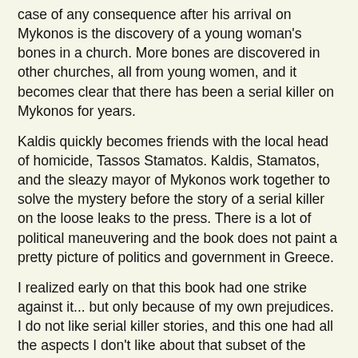case of any consequence after his arrival on Mykonos is the discovery of a young woman's bones in a church. More bones are discovered in other churches, all from young women, and it becomes clear that there has been a serial killer on Mykonos for years.
Kaldis quickly becomes friends with the local head of homicide, Tassos Stamatos. Kaldis, Stamatos, and the sleazy mayor of Mykonos work together to solve the mystery before the story of a serial killer on the loose leaks to the press. There is a lot of political maneuvering and the book does not paint a pretty picture of politics and government in Greece.
I realized early on that this book had one strike against it... but only because of my own prejudices. I do not like serial killer stories, and this one had all the aspects I don't like about that subset of the mystery genre. Getting inside the head of the killer, experiencing the panic of the victims, etc.
I have heard that this is a good series; it now consists of ten books. So I persevered. Overall this was an engaging read, with an interesting characters. The right type of personal